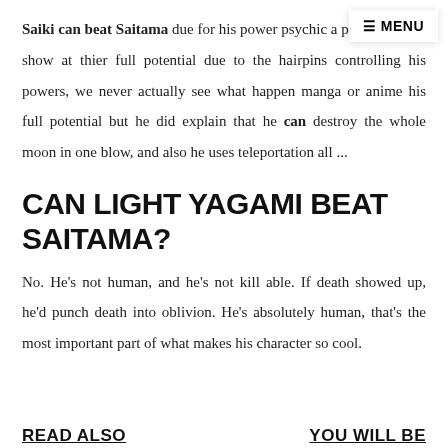≡ MENU
Saiki can beat Saitama due for his power psychic a powers wasn't show at thier full potential due to the hairpins controlling his powers, we never actually see what happen manga or anime his full potential but he did explain that he can destroy the whole moon in one blow, and also he uses teleportation all ...
CAN LIGHT YAGAMI BEAT SAITAMA?
No. He's not human, and he's not kill able. If death showed up, he'd punch death into oblivion. He's absolutely human, that's the most important part of what makes his character so cool.
READ ALSO
YOU WILL BE